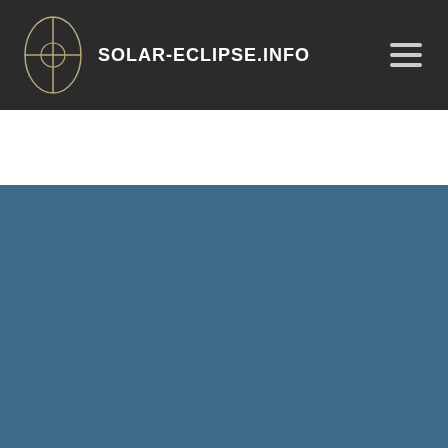SOLAR-ECLIPSE.INFO
< Saros cycle 153   Saros cycle 155 >